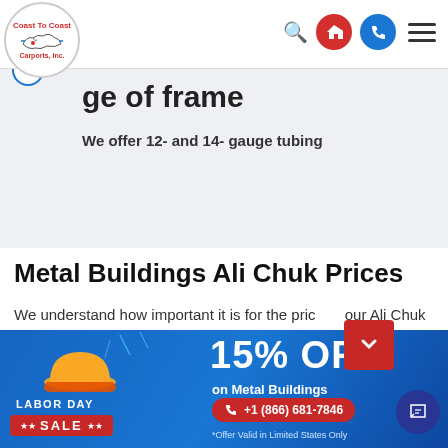Coast To Coast Carports, Inc. — navigation bar with search, home, phone, and menu icons
ge of frame
We offer 12- and 14- gauge tubing
Metal Buildings Ali Chuk Prices
We understand how important it is for the price of your Ali Chuk metal building to be affordable, it's the b...ng point
[Figure (infographic): Labor Day Sale banner: 15% OFF on Metal Buildings, +1 (866) 681-7846, *Offer Valid in Limited States Only]
*Offer Valid in Limited States Only